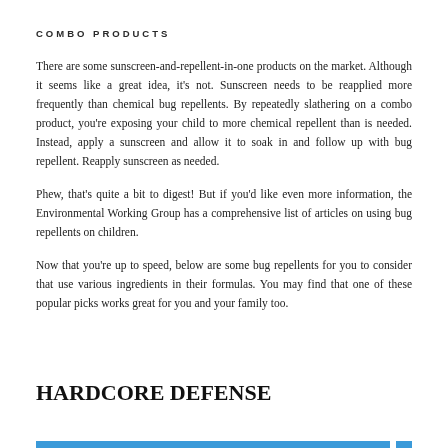COMBO PRODUCTS
There are some sunscreen-and-repellent-in-one products on the market. Although it seems like a great idea, it's not. Sunscreen needs to be reapplied more frequently than chemical bug repellents. By repeatedly slathering on a combo product, you're exposing your child to more chemical repellent than is needed. Instead, apply a sunscreen and allow it to soak in and follow up with bug repellent. Reapply sunscreen as needed.
Phew, that's quite a bit to digest! But if you'd like even more information, the Environmental Working Group has a comprehensive list of articles on using bug repellents on children.
Now that you're up to speed, below are some bug repellents for you to consider that use various ingredients in their formulas. You may find that one of these popular picks works great for you and your family too.
HARDCORE DEFENSE